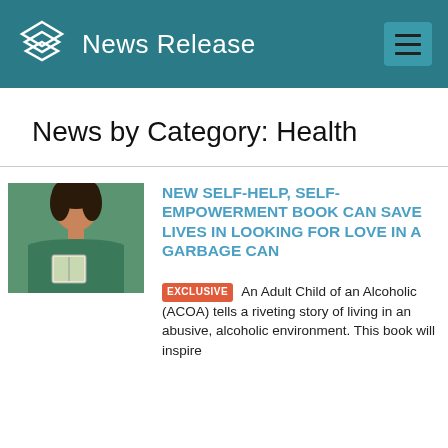News Release
News by Category: Health
[Figure (photo): Person in teal shirt holding a book, article thumbnail]
NEW SELF-HELP, SELF-EMPOWERMENT BOOK CAN SAVE LIVES IN LOOKING FOR LOVE IN A GARBAGE CAN
EXCLUSIVE  An Adult Child of an Alcoholic (ACOA) tells a riveting story of living in an abusive, alcoholic environment. This book will inspire